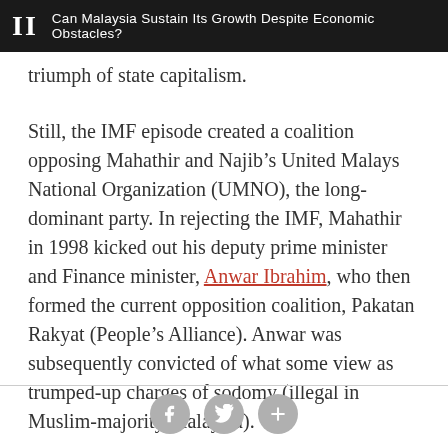II  Can Malaysia Sustain Its Growth Despite Economic Obstacles?
triumph of state capitalism.
Still, the IMF episode created a coalition opposing Mahathir and Najib’s United Malays National Organization (UMNO), the long-dominant party. In rejecting the IMF, Mahathir in 1998 kicked out his deputy prime minister and Finance minister, Anwar Ibrahim, who then formed the current opposition coalition, Pakatan Rakyat (People’s Alliance). Anwar was subsequently convicted of what some view as trumped-up charges of sodomy (illegal in Muslim-majority Malaysia).